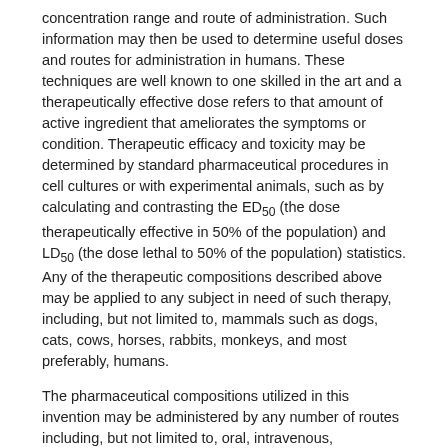concentration range and route of administration. Such information may then be used to determine useful doses and routes for administration in humans. These techniques are well known to one skilled in the art and a therapeutically effective dose refers to that amount of active ingredient that ameliorates the symptoms or condition. Therapeutic efficacy and toxicity may be determined by standard pharmaceutical procedures in cell cultures or with experimental animals, such as by calculating and contrasting the ED50 (the dose therapeutically effective in 50% of the population) and LD50 (the dose lethal to 50% of the population) statistics. Any of the therapeutic compositions described above may be applied to any subject in need of such therapy, including, but not limited to, mammals such as dogs, cats, cows, horses, rabbits, monkeys, and most preferably, humans.
The pharmaceutical compositions utilized in this invention may be administered by any number of routes including, but not limited to, oral, intravenous, intramuscular, intra-arterial, intramedullary, intrathecal, intraventricular, transdermal, subcutaneous, intraperitoneal, intranasal, enteral, topical, sublingual, or rectal means.
The term “Treatment” for purposes of this disclosure refers to both therapeutic treatment and prophylactic or preventative measures, wherein the object is to prevent or slow down (lessen) the targeted pathologic condition or disorder. Those in need of treatment include those already with the disorder as well as those prone to have the disorder or those in whom